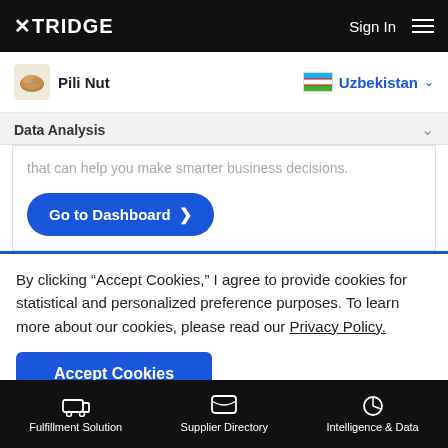TRIDGE | Sign In
Pili Nut | Uzbekistan
Data Analysis
that can help you make smarter business decisions.
Go to Dashboard >
By clicking “Accept Cookies,” I agree to provide cookies for statistical and personalized preference purposes. To learn more about our cookies, please read our Privacy Policy.
Accept Cookies
Fulfillment Solution | Supplier Directory | Intelligence & Data